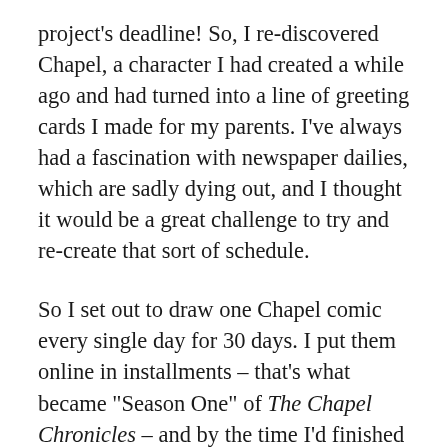project's deadline! So, I re-discovered Chapel, a character I had created a while ago and had turned into a line of greeting cards I made for my parents. I've always had a fascination with newspaper dailies, which are sadly dying out, and I thought it would be a great challenge to try and re-create that sort of schedule.
So I set out to draw one Chapel comic every single day for 30 days. I put them online in installments – that's what became "Season One" of The Chapel Chronicles – and by the time I'd finished posting them, I realized they had really struck a chord. People were commenting! People I didn't even know in real life! So why not continue? I lightened my load a little bit, though, to one comic per week instead of per